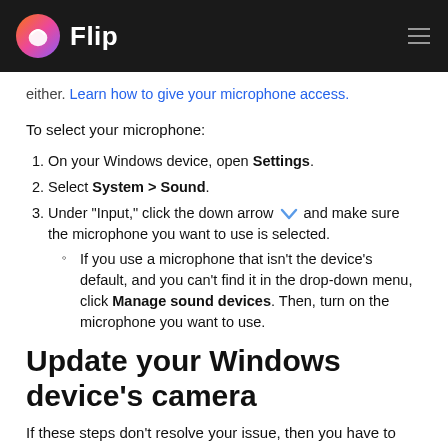Flip
either. Learn how to give your microphone access.
To select your microphone:
1. On your Windows device, open Settings.
2. Select System > Sound.
3. Under "Input," click the down arrow and make sure the microphone you want to use is selected.
If you use a microphone that isn't the device's default, and you can't find it in the drop-down menu, click Manage sound devices. Then, turn on the microphone you want to use.
Update your Windows device's camera
If these steps don't resolve your issue, then you have to